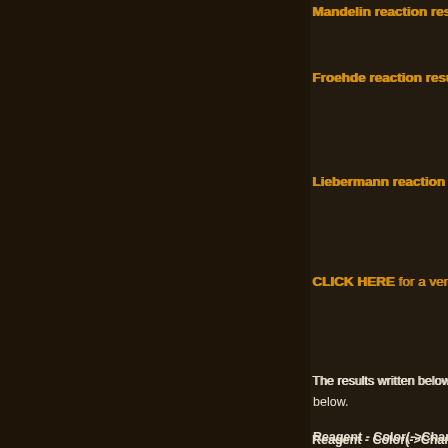Mandelin reaction results with picture of reac...
Froehde reaction results with picture of reacti...
Liebermann reaction results with picture of re...
CLICK HERE for a verified High-Definition reag...
The results written below are taken from different source... below.
Reagent - Color(->Changing color) - (Medium) - (Refer...
Classic psychedelics and naturally fo...
DMT
α-Nitroso-β-naphthol-nitrous acid - Negative - (silica g... - Weak brown (on paper) - (18 )
Chloranil - No Reaction - (silica gel) - ( 8 )
CNTF - Gray (light) - (silica gel) - ( 8 )
Diazotized p-Nitroaniline - Very weak yellow - (on pape...
Dragendorff's - positive with spray - (silical gel) - (5)